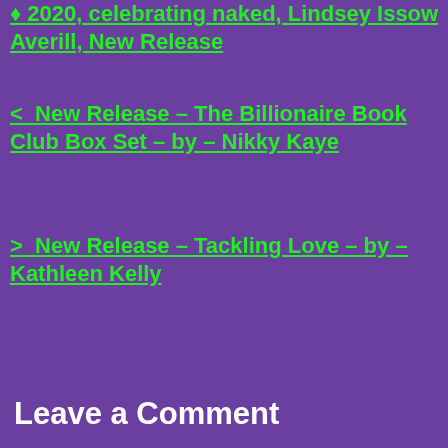< 2020, celebrating naked, Lindsey Issow Averill, New Release
< New Release – The Billionaire Book Club Box Set – by – Nikky Kaye
> New Release – Tackling Love – by – Kathleen Kelly
Leave a Comment
Privacy & Cookies: This site uses cookies. By continuing to use this website, you agree to their use. To find out more, including how to control cookies, see here: Cookie Policy
Close and accept